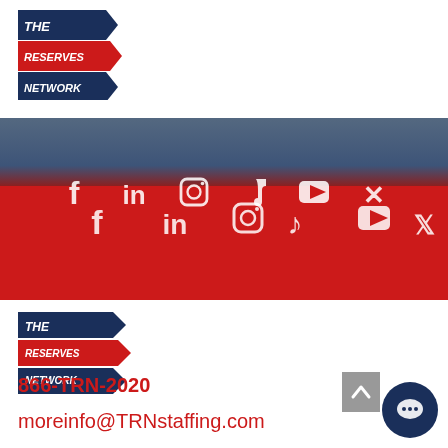[Figure (logo): The Reserves Network logo — top header area]
[Figure (infographic): Blue and red banner with social media icons: Facebook, LinkedIn, Instagram, TikTok, YouTube, Twitter]
[Figure (logo): The Reserves Network logo — bottom footer area]
866-TRN-2020
moreinfo@TRNstaffing.com